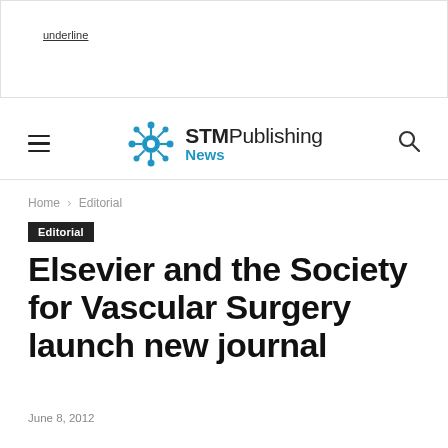underline
[Figure (logo): STM Publishing News logo with blue molecular/network icon and bold STM text followed by Publishing News]
Home › Editorial
Editorial
Elsevier and the Society for Vascular Surgery launch new journal
June 8, 2012